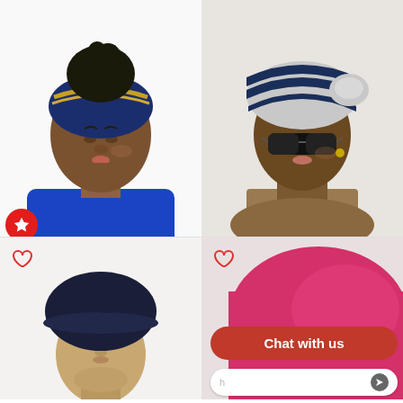[Figure (photo): Mannequin wearing navy and gold tapered satin wrap cap with natural hair on top]
[Figure (photo): Woman wearing navy and light gray EZ PZ turban wrap with sunglasses]
Navy & Gold Tapered Satin Wrap Cap
$22.00 USD
Women Navy & Light Gray EZ PZ Turban Wrap
$24.89 USD
[Figure (photo): Navy knit beret/slouch cap on mannequin head]
[Figure (photo): Pink/magenta hat product partially visible with Chat with us overlay]
Chat with us